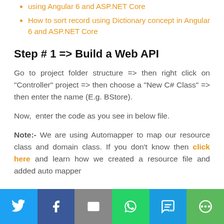using Angular 6 and ASP.NET Core
How to sort record using Dictionary concept in Angular 6 and ASP.NET Core
Step # 1 => Build a Web API
Go to project folder structure => then right click on "Controller" project => then choose a "New C# Class" => then enter the name (E.g. BStore).
Now,  enter the code as you see in below file.
Note:- We are using Automapper to map our resource class and domain class. If you don't know then click here and learn how we created a resource file and added auto mapper